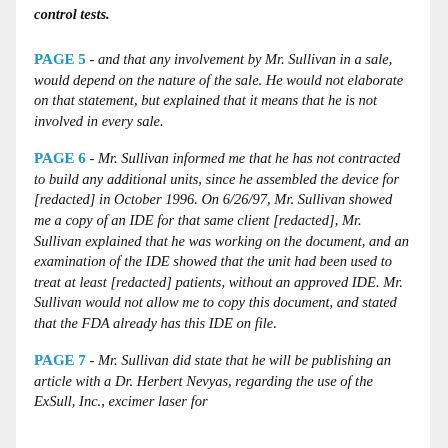control tests.
PAGE 5 - and that any involvement by Mr. Sullivan in a sale, would depend on the nature of the sale. He would not elaborate on that statement, but explained that it means that he is not involved in every sale.
PAGE 6 - Mr. Sullivan informed me that he has not contracted to build any additional units, since he assembled the device for [redacted] in October 1996. On 6/26/97, Mr. Sullivan showed me a copy of an IDE for that same client [redacted], Mr. Sullivan explained that he was working on the document, and an examination of the IDE showed that the unit had been used to treat at least [redacted] patients, without an approved IDE. Mr. Sullivan would not allow me to copy this document, and stated that the FDA already has this IDE on file.
PAGE 7 - Mr. Sullivan did state that he will be publishing an article with a Dr. Herbert Nevyas, regarding the use of the ExSull, Inc., excimer laser for